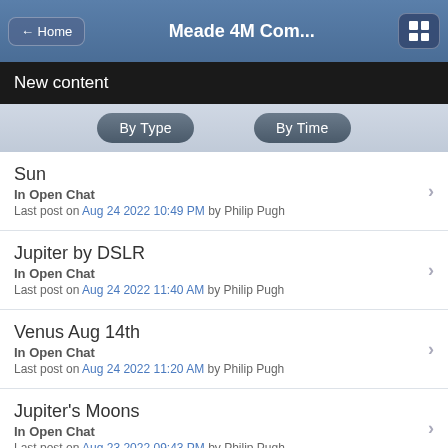← Home | Meade 4M Com... | [grid icon]
New content
By Type | By Time
Sun
In Open Chat
Last post on Aug 24 2022 10:49 PM by Philip Pugh
Jupiter by DSLR
In Open Chat
Last post on Aug 24 2022 11:40 AM by Philip Pugh
Venus Aug 14th
In Open Chat
Last post on Aug 24 2022 11:20 AM by Philip Pugh
Jupiter's Moons
In Open Chat
Last post on Aug 23 2022 09:43 PM by Philip Pugh
Perseid Meteor
In Open Chat
Last post on Aug 23 2022 11:47 AM by Philip Pugh